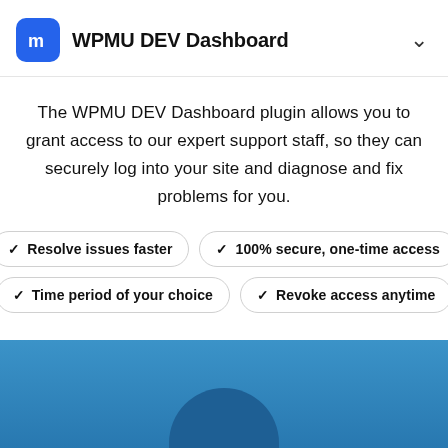WPMU DEV Dashboard
The WPMU DEV Dashboard plugin allows you to grant access to our expert support staff, so they can securely log into your site and diagnose and fix problems for you.
✓ Resolve issues faster
✓ 100% secure, one-time access
✓ Time period of your choice
✓ Revoke access anytime
Pricing